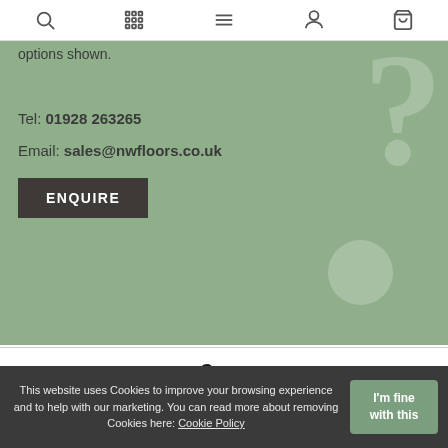Navigation bar with search, grid, menu, account, and cart icons
options shown.
Tel: 01928 263265
Email: sales@nwfloors.co.uk
ENQUIRE
£41.13 per m²
In Stock
This website uses Cookies to improve your browsing experience and to help with our marketing. You can read more about removing Cookies here: Cookie Policy
I'm fine with this